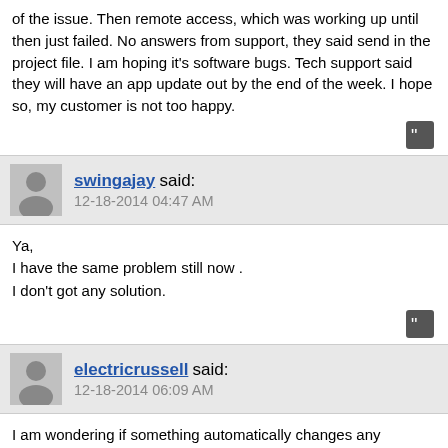of the issue. Then remote access, which was working up until then just failed. No answers from support, they said send in the project file. I am hoping it's software bugs. Tech support said they will have an app update out by the end of the week. I hope so, my customer is not too happy.
swingajay said: 12-18-2014 04:47 AM
Ya,
I have the same problem still now .
I don't got any solution.
electricrussell said: 12-18-2014 06:09 AM
I am wondering if something automatically changes any network or router settings when you update the repeaters file version and I'm not catching it...